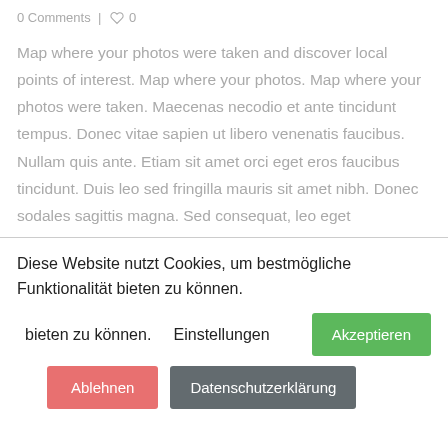0 Comments | ♡ 0
Map where your photos were taken and discover local points of interest. Map where your photos. Map where your photos were taken. Maecenas necodio et ante tincidunt tempus. Donec vitae sapien ut libero venenatis faucibus. Nullam quis ante. Etiam sit amet orci eget eros faucibus tincidunt. Duis leo sed fringilla mauris sit amet nibh. Donec sodales sagittis magna. Sed consequat, leo eget
Diese Website nutzt Cookies, um bestmögliche Funktionalität bieten zu können.
Einstellungen
Akzeptieren
Ablehnen
Datenschutzerklärung